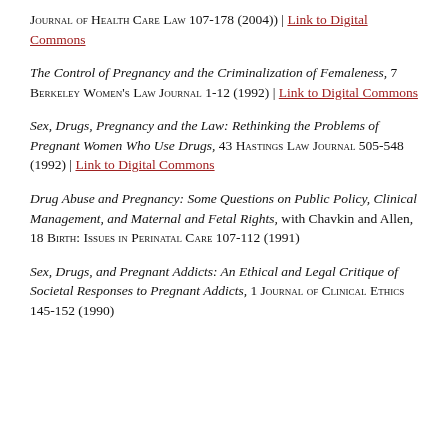Journal of Health Care Law 107-178 (2004)) | Link to Digital Commons
The Control of Pregnancy and the Criminalization of Femaleness, 7 Berkeley Women's Law Journal 1-12 (1992) | Link to Digital Commons
Sex, Drugs, Pregnancy and the Law: Rethinking the Problems of Pregnant Women Who Use Drugs, 43 Hastings Law Journal 505-548 (1992) | Link to Digital Commons
Drug Abuse and Pregnancy: Some Questions on Public Policy, Clinical Management, and Maternal and Fetal Rights, with Chavkin and Allen, 18 Birth: Issues in Perinatal Care 107-112 (1991)
Sex, Drugs, and Pregnant Addicts: An Ethical and Legal Critique of Societal Responses to Pregnant Addicts, 1 Journal of Clinical Ethics 145-152 (1990)